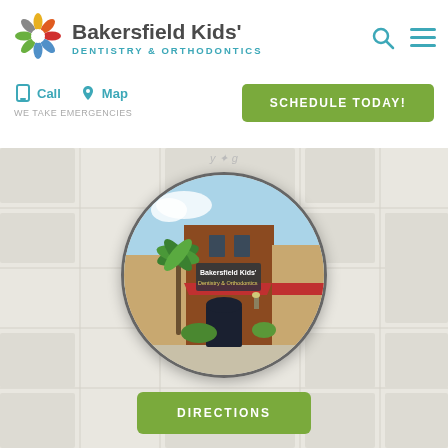[Figure (logo): Bakersfield Kids' Dentistry & Orthodontics logo with colorful starburst icon]
Bakersfield Kids' Dentistry & Orthodontics
Call
Map
WE TAKE EMERGENCIES
SCHEDULE TODAY!
[Figure (photo): Circular photo of Bakersfield Kids' Dentistry & Orthodontics building exterior with palm tree and red awnings]
DIRECTIONS